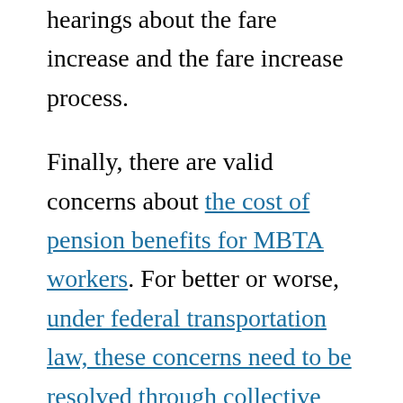hearings about the fare increase and the fare increase process.
Finally, there are valid concerns about the cost of pension benefits for MBTA workers. For better or worse, under federal transportation law, these concerns need to be resolved through collective bargaining as opposed to state legislation. MBTA management is well aware of its fiduciary responsibility to address the sustainability and fairness of the pension plan in the context of